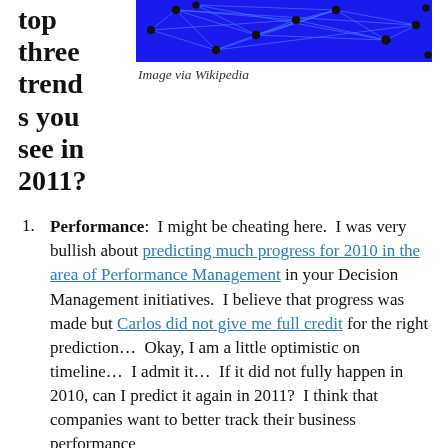top three trends you see in 2011?
[Figure (network-graph): A network graph visualization with blue lines/edges connecting black dot nodes, shown on a dark blue background — image via Wikipedia]
Image via Wikipedia
Performance: I might be cheating here. I was very bullish about predicting much progress for 2010 in the area of Performance Management in your Decision Management initiatives. I believe that progress was made but Carlos did not give me full credit for the right prediction... Okay, I am a little optimistic on timeline... I admit it... If it did not fully happen in 2010, can I predict it again in 2011? I think that companies want to better track their business performance...